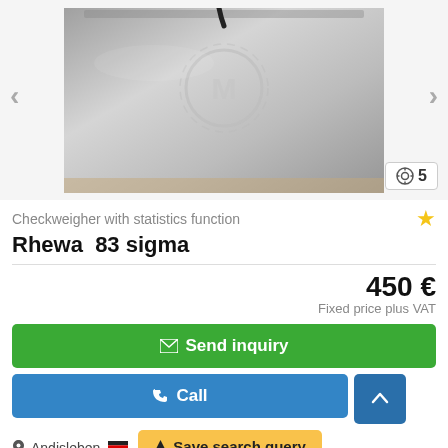[Figure (photo): Photo of Rhewa 83 sigma checkweigher device, metallic silver flat surface with logo, shown from above on a table. Navigation arrows on left and right. Photo count badge showing 5.]
Checkweigher with statistics function
Rhewa  83 sigma
450 €
Fixed price plus VAT
✉ Send inquiry
✆ Call
📍 Andisleben 🇩🇪   ✈ Save search query
🚩 6653 km ?